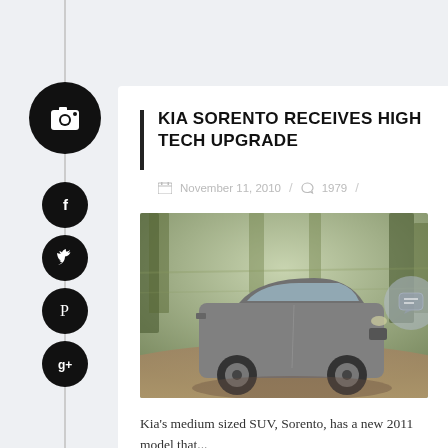KIA SORENTO RECEIVES HIGH TECH UPGRADE
November 11, 2010 / 1979 /
[Figure (photo): Kia Sorento SUV driving on a forest path with motion-blurred trees in background]
Kia's medium sized SUV, Sorento, has a new 2011 model that...